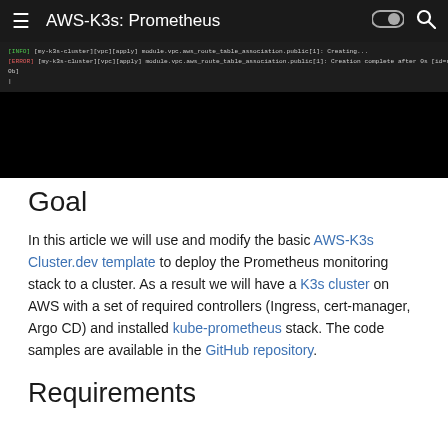AWS-K3s: Prometheus
[Figure (screenshot): Terminal output showing Pulumi/Terraform apply commands for AWS VPC route table association resources, with green INFO and red ERROR log lines on a dark background.]
Goal
In this article we will use and modify the basic AWS-K3s Cluster.dev template to deploy the Prometheus monitoring stack to a cluster. As a result we will have a K3s cluster on AWS with a set of required controllers (Ingress, cert-manager, Argo CD) and installed kube-prometheus stack. The code samples are available in the GitHub repository.
Requirements